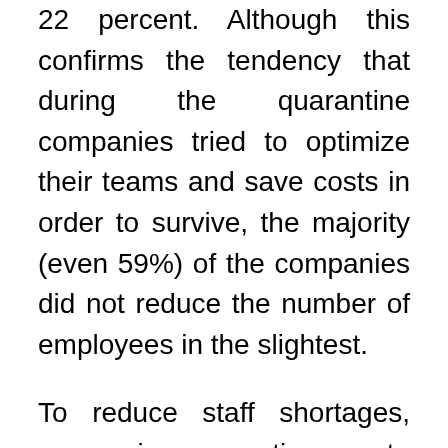22 percent. Although this confirms the tendency that during the quarantine companies tried to optimize their teams and save costs in order to survive, the majority (even 59%) of the companies did not reduce the number of employees in the slightest.
To reduce staff shortages, companies continue to allocate resources to training and retraining.
Improving leadership skills remains a major challenge in the area of human resources.